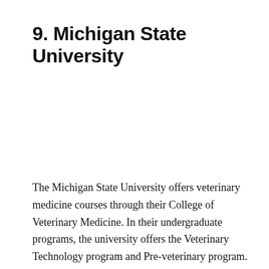9. Michigan State University
The Michigan State University offers veterinary medicine courses through their College of Veterinary Medicine. In their undergraduate programs, the university offers the Veterinary Technology program and Pre-veterinary program. In the graduate level,